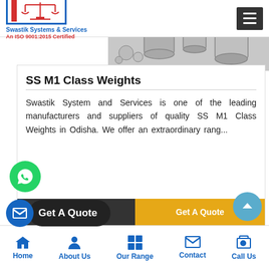Swastik Systems & Services — An ISO 9001:2015 Certified
[Figure (photo): Stainless steel calibration weights of various sizes arranged together]
SS M1 Class Weights
Swastik System and Services is one of the leading manufacturers and suppliers of quality SS M1 Class Weights in Odisha. We offer an extraordinary rang...
Home | About Us | Our Range | Contact | Call Us